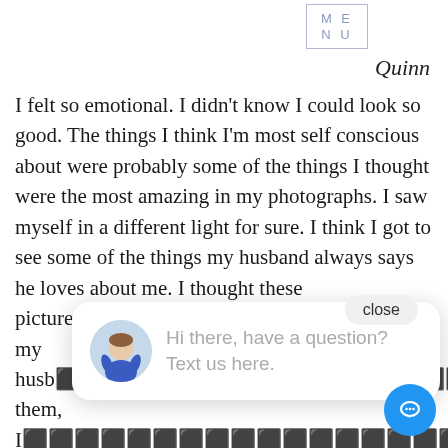MENU  Quinn
I felt so emotional. I didn't know I could look so good. The things I think I'm most self conscious about were probably some of the things I thought were the most amazing in my photographs. I saw myself in a different light for sure. I think I got to see some of the things my husband always says he loves about me. I thought these pictures [would make the perfect gift for] my husband [and when I showed] them, I [just wanted to put them on a] billboard LOL
I wish every woman could do this and feel this way. I thought this would be an amazing experience and it was even better. I felt so comfortable and
[Figure (screenshot): Chat widget popup with avatar of woman in blue dress and text: Hi there, have a question? Text us here. Also shows a 'close' button and blue chat bubble button.]